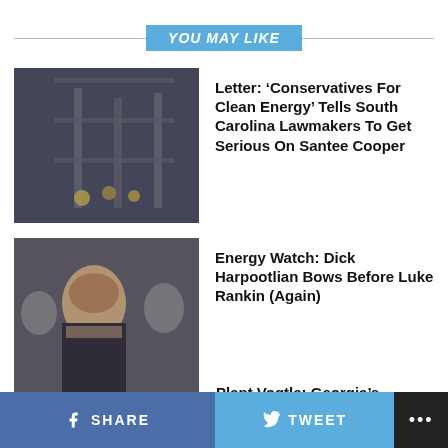YOU MAY LIKE
[Figure (photo): Industrial interior with workers, scaffolding and bright lights]
Letter: ‘Conservatives For Clean Energy’ Tells South Carolina Lawmakers To Get Serious On Santee Cooper
[Figure (photo): Man in suit at hearing table, others in background]
Energy Watch: Dick Harpootlian Bows Before Luke Rankin (Again)
[Figure (photo): Construction site with orange workers and industrial structures]
Georgia’s Ongoing ‘NukeGate’ Fiasco Places More Pressure On Santee Cooper
Plant Vogtle: Georgia’s ‘NukeGate’ Gets Worse
SHARE   TWEET   ...